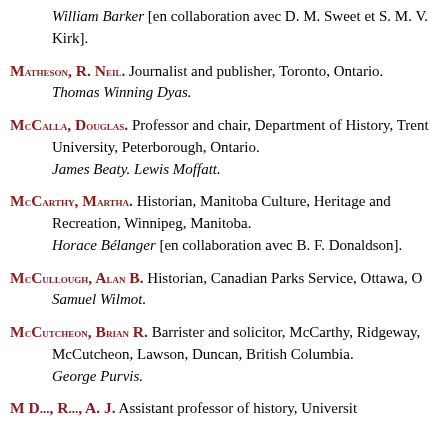William Barker [en collaboration avec D. M. Sweet et S. M. V. Kirk].
MATHESON, R. NEIL. Journalist and publisher, Toronto, Ontario. Thomas Winning Dyas.
McCALLA, DOUGLAS. Professor and chair, Department of History, Trent University, Peterborough, Ontario. James Beaty. Lewis Moffatt.
McCARTHY, MARTHA. Historian, Manitoba Culture, Heritage and Recreation, Winnipeg, Manitoba. Horace Bélanger [en collaboration avec B. F. Donaldson].
McCULLOUGH, ALAN B. Historian, Canadian Parks Service, Ottawa, O. Samuel Wilmot.
McCUTCHEON, BRIAN R. Barrister and solicitor, McCarthy, Ridgeway, McCutcheon, Lawson, Duncan, British Columbia. George Purvis.
M D..., R..., A. J. Assistant professor of history, University...